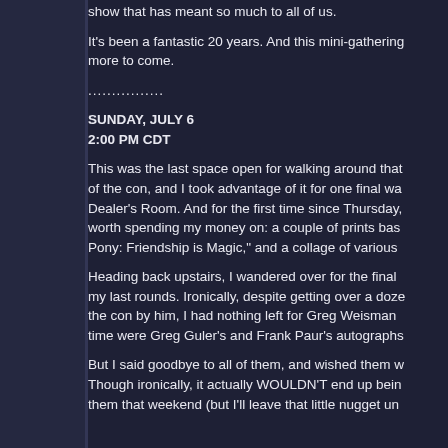show that has meant so much to all of us.
It's been a fantastic 20 years. And this mini-gathering more to come.
................
SUNDAY, JULY 6
2:00 PM CDT
This was the last space open for walking around that of the con, and I took advantage of it for one final wa Dealer's Room. And for the first time since Thursday, worth spending my money on: a couple of prints bas Pony: Friendship is Magic," and a collage of various
Heading back upstairs, I wandered over for the final my last rounds. Ironically, despite getting over a doze the con by him, I had nothing left for Greg Weisman time were Greg Guler's and Frank Paur's autographs
But I said goodbye to all of them, and wished them w Though ironically, it actually WOULDN'T end up bein them that weekend (but I'll leave that little nugget un